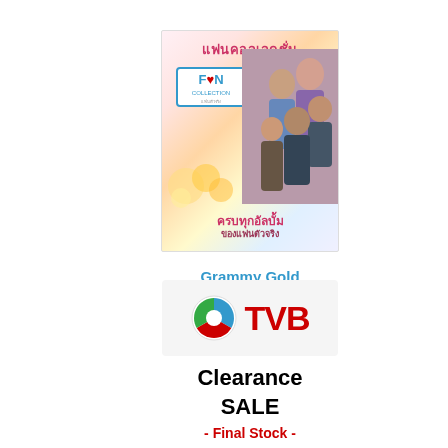[Figure (photo): Grammy Gold Fan Collection album cover with Thai text and group of people]
Grammy Gold Fan Collection
[Figure (logo): TVB logo with colorful circle icon and red TVB text on light gray background]
Clearance SALE
- Final Stock -